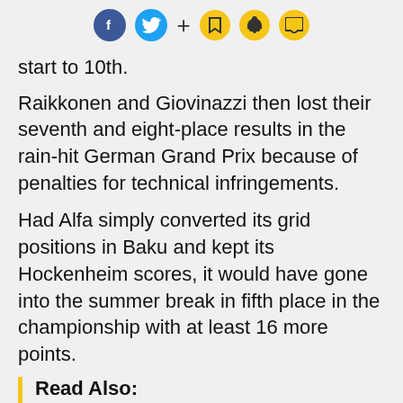Social sharing icons: Facebook, Twitter, plus, bookmark, bell, comment
start to 10th.
Raikkonen and Giovinazzi then lost their seventh and eight-place results in the rain-hit German Grand Prix because of penalties for technical infringements.
Had Alfa simply converted its grid positions in Baku and kept its Hockenheim scores, it would have gone into the summer break in fifth place in the championship with at least 16 more points.
Read Also:
Alfa Romeo F1 team rebranded as Kubica joins in reserve role
Vasseur got Sauber's blessing for Alfa Romeo rebrand